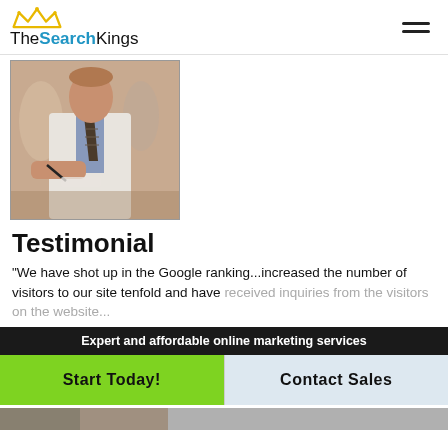TheSearchKings
[Figure (photo): A man in a white coat and striped tie writing on paper, with other people in background]
Testimonial
"We have shot up in the Google ranking...increased the number of visitors to our site tenfold and have ...
Expert and affordable online marketing services
Start Today!
Contact Sales